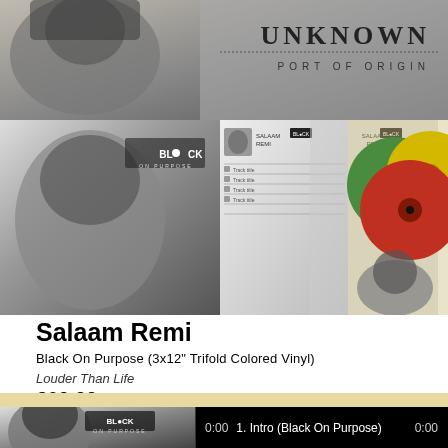[Figure (photo): Collage of images: top banner shows a person's face on the left and text 'Unknown Port of Origin' on the right in a grayscale photo. Middle strip shows album art for 'Black On Purpose' by Salaam Remi - face portrait, tracklist pages, and colored vinyl records.]
Salaam Remi
Black On Purpose (3x12" Trifold Colored Vinyl)
Louder Than Life
€60,00
[Figure (photo): Thumbnail of album art showing face portrait with 'Black On Purpose' text]
0:00   1. Intro (Black On Purpose)   0:00